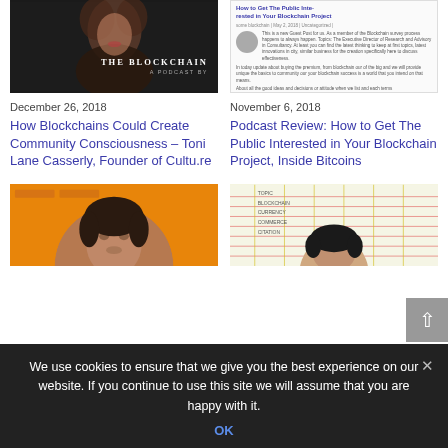[Figure (photo): Woman with curly hair, dark background with 'THE BLOCKCHAIN A PODCAST BY' text overlay]
[Figure (screenshot): Screenshot of article 'How to Get The Public Interested in Your Blockchain Project' with text and avatar]
December 26, 2018
November 6, 2018
How Blockchains Could Create Community Consciousness – Toni Lane Casserly, Founder of Cultu.re
Podcast Review: How to Get The Public Interested in Your Blockchain Project, Inside Bitcoins
[Figure (photo): Man's face on orange background]
[Figure (photo): Person's head with grid/ruled paper in background]
We use cookies to ensure that we give you the best experience on our website. If you continue to use this site we will assume that you are happy with it.
OK